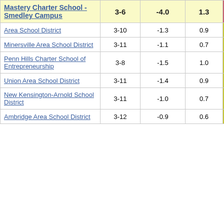| School/District | Grades | Col3 | Col4 | Score |
| --- | --- | --- | --- | --- |
| Mastery Charter School - Smedley Campus | 3-6 | -4.0 | 1.3 | -3.18 |
| Area School District | 3-10 | -1.3 | 0.9 | -1.43 |
| Minersville Area School District | 3-11 | -1.1 | 0.7 | -1.43 |
| Penn Hills Charter School of Entrepreneurship | 3-8 | -1.5 | 1.0 | -1.52 |
| Union Area School District | 3-11 | -1.4 | 0.9 | -1.52 |
| New Kensington-Arnold School District | 3-11 | -1.0 | 0.7 | -1.55 |
| Ambridge Area School District | 3-12 | -0.9 | 0.6 | -1.55 |